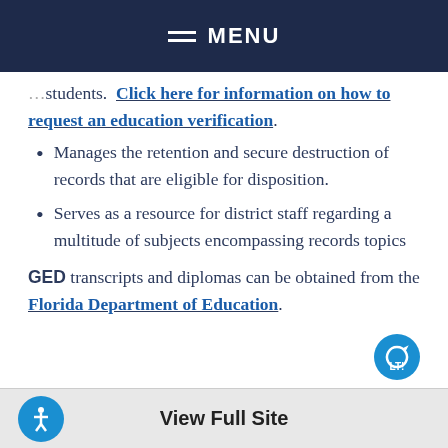MENU
students.  Click here for information on how to request an education verification.
Manages the retention and secure destruction of records that are eligible for disposition.
Serves as a resource for district staff regarding a multitude of subjects encompassing records topics
GED transcripts and diplomas can be obtained from the Florida Department of Education.
View Full Site